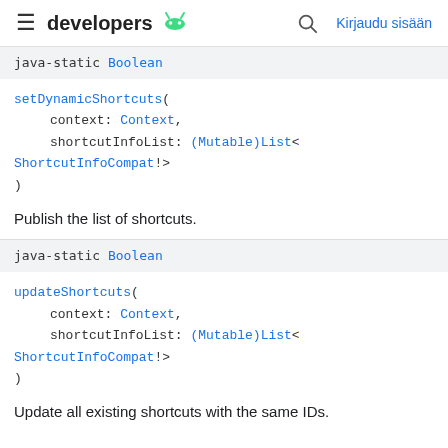developers  Kirjaudu sisään
java-static Boolean
setDynamicShortcuts(
    context: Context,
    shortcutInfoList: (Mutable)List<ShortcutInfoCompat!>
)
Publish the list of shortcuts.
java-static Boolean
updateShortcuts(
    context: Context,
    shortcutInfoList: (Mutable)List<ShortcutInfoCompat!>
)
Update all existing shortcuts with the same IDs.